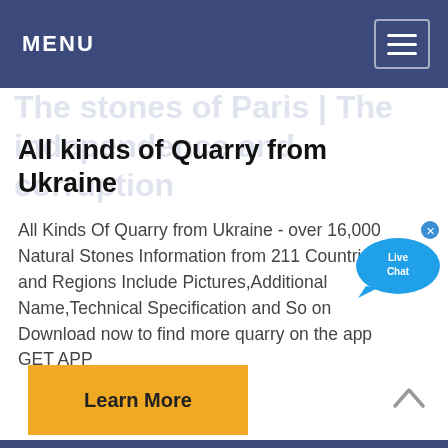MENU
All kinds of Quarry from Ukraine
All Kinds Of Quarry from Ukraine - over 16,000 Natural Stones Information from 211 Countries and Regions Include Pictures,Additional Name,Technical Specification and So on Download now to find more quarry on the app GET APP
[Figure (other): Live Chat bubble overlay widget in blue]
Learn More
[Figure (other): Scroll up chevron arrow icon at bottom right]